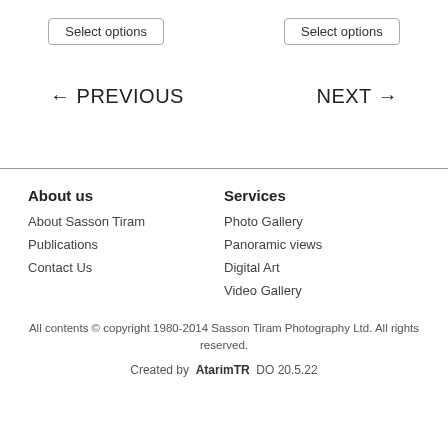Select options
Select options
← PREVIOUS
NEXT →
About us
Services
About Sasson Tiram
Publications
Contact Us
Photo Gallery
Panoramic views
Digital Art
Video Gallery
All contents © copyright 1980-2014 Sasson Tiram Photography Ltd. All rights reserved.
Created by AtarimTR DO 20.5.22